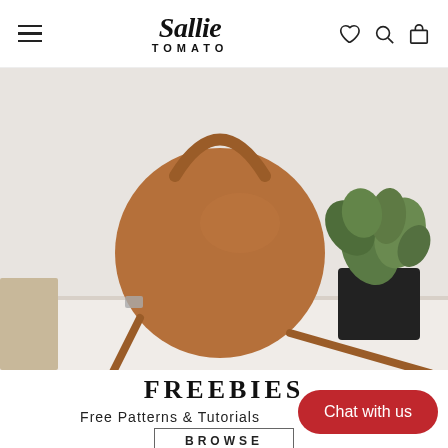Sallie Tomato — navigation header with hamburger menu, logo, heart/search/bag icons
[Figure (photo): A round tan leather crossbody bag leaning against a white wall on a white surface, with a dark potted green plant beside it.]
FREEBIES
Free Patterns & Tutorials
BROWSE
Chat with us